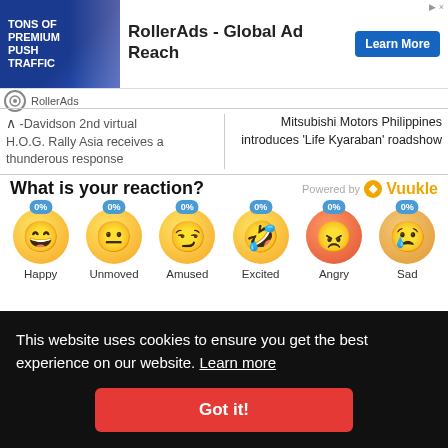[Figure (screenshot): RollerAds advertisement banner with blue background showing woman and text 'TONS OF PREMIUM PUSH TRAFFIC'. Ad title: 'RollerAds - Global Ad Reach' with 'Learn More' button and RollerAds logo.]
-Davidson 2nd virtual H.O.G. Rally Asia receives a thunderous response
Mitsubishi Motors Philippines introduces 'Life Kyaraban' roadshow
What is your reaction?
Powered by Vuukle
[Figure (infographic): Emoji reaction widget showing 6 emojis: Happy 0%, Unmoved 0%, Amused 0%, Excited 0%, Angry 0%, Sad 0%]
This website uses cookies to ensure you get the best experience on our website. Learn more
Got it!